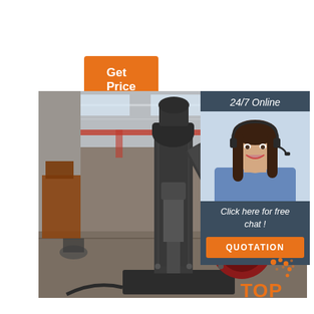Get Price
[Figure (photo): Industrial forging hammer machine in a factory/workshop setting, large black metal equipment on concrete floor with overhead cranes and other machinery in background]
[Figure (photo): Customer service agent woman with headset, smiling, in a blue shirt, overlaid on dark blue panel with '24/7 Online' text and 'Click here for free chat!' and 'QUOTATION' button]
24/7 Online
Click here for free chat !
QUOTATION
[Figure (logo): TOP logo with orange dots arranged in a circular cluster pattern and the word TOP in orange text]